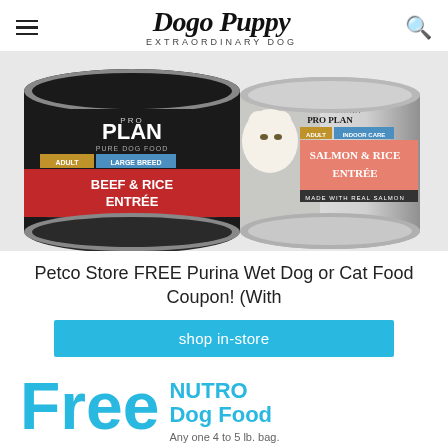Dogo Puppy — EXTRAORDINARY DOG
[Figure (photo): Two cans of Purina Pro Plan wet food: one Adult Large Breed Beef & Rice Entrée (dog food, black can) and one Adult Indoor Care Salmon & Rice Entrée (cat food, silver can with cat image)]
Petco Store FREE Purina Wet Dog or Cat Food Coupon! (With
shop in-store
[Figure (infographic): Coupon graphic with large cyan 'Free' text and 'NUTRO Dog Food — Any one 4 to 5 lb. bag.' text in cyan and gray]